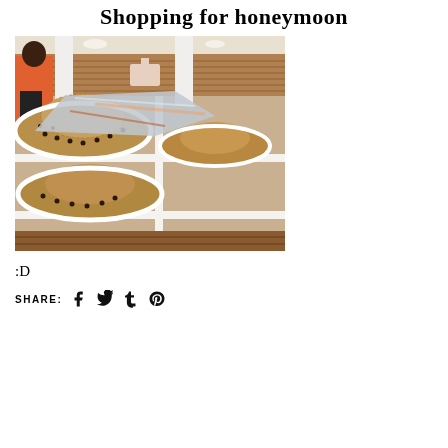Shopping for honeymoon
[Figure (photo): Photo of straw/woven hats displayed on white shelving unit in a retail store. A person in an orange top is visible in the background. Store interior with wood-paneled walls.]
:D
SHARE: